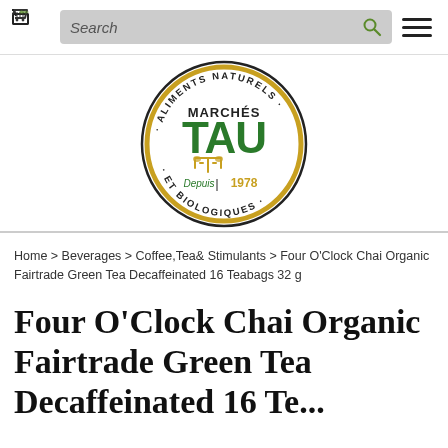Search
[Figure (logo): Marchés TAU circular logo with text 'ALIMENTS NATURELS ET BIOLOGIQUES · Marchés TAU · Depuis 1978']
Home > Beverages > Coffee,Tea& Stimulants > Four O'Clock Chai Organic Fairtrade Green Tea Decaffeinated 16 Teabags 32 g
Four O'Clock Chai Organic Fairtrade Green Tea Decaffeinated 16 Teabags 32...